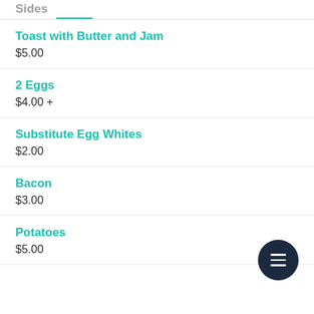Sides
Toast with Butter and Jam
$5.00
2 Eggs
$4.00 +
Substitute Egg Whites
$2.00
Bacon
$3.00
Potatoes
$5.00
[Figure (other): Floating action button with hamburger menu icon (dark navy circle with three white horizontal lines)]